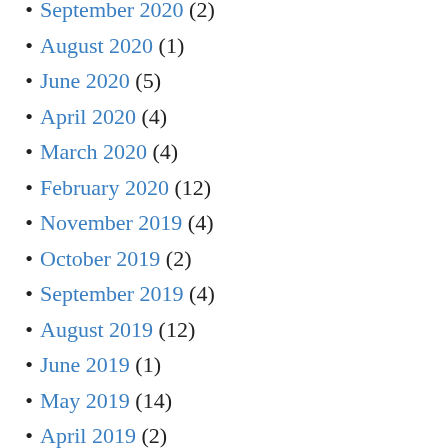September 2020 (2)
August 2020 (1)
June 2020 (5)
April 2020 (4)
March 2020 (4)
February 2020 (12)
November 2019 (4)
October 2019 (2)
September 2019 (4)
August 2019 (12)
June 2019 (1)
May 2019 (14)
April 2019 (2)
March 2019 (2)
February 2019 (8)
November 2018 (4)
October 2018 (6)